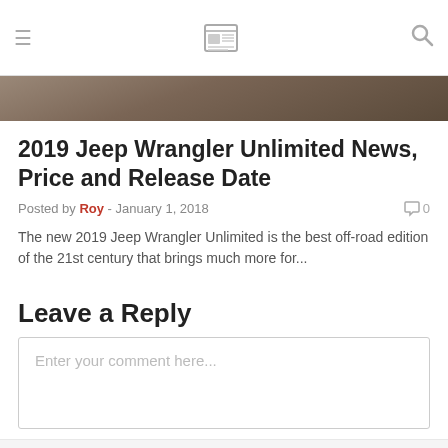≡  [newspaper logo]  🔍
[Figure (photo): Brown textured surface hero image banner]
2019 Jeep Wrangler Unlimited News, Price and Release Date
Posted by Roy - January 1, 2018   💬 0
The new 2019 Jeep Wrangler Unlimited is the best off-road edition of the 21st century that brings much more for...
Leave a Reply
Enter your comment here...